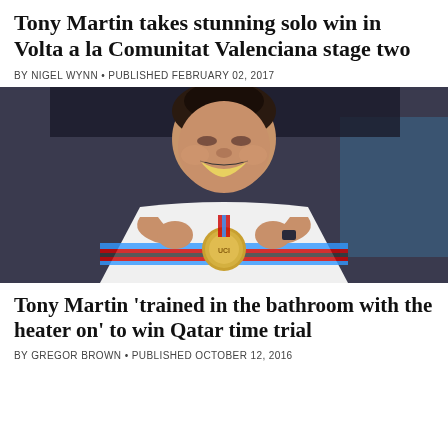Tony Martin takes stunning solo win in Volta a la Comunitat Valenciana stage two
BY NIGEL WYNN • PUBLISHED FEBRUARY 02, 2017
[Figure (photo): Tony Martin smiling and holding up a gold medal (UCI) with both hands, wearing a white cycling jersey with rainbow champion bands]
Tony Martin 'trained in the bathroom with the heater on' to win Qatar time trial
BY GREGOR BROWN • PUBLISHED OCTOBER 12, 2016